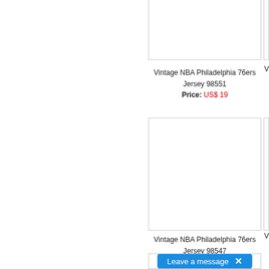[Figure (photo): Product image box for Vintage NBA Philadelphia 76ers Jersey 98551 (top, partially cropped)]
Vintage NBA Philadelphia 76ers Jersey 98551
Price: US$ 19
[Figure (photo): Partially visible product image box on right side (top row, cropped)]
Vi...
[Figure (photo): Product image box for Vintage NBA Philadelphia 76ers Jersey 98547]
Vintage NBA Philadelphia 76ers Jersey 98547
Price: US$ 19
[Figure (photo): Partially visible product image box on right side (bottom row, cropped)]
Vi...
[Figure (screenshot): Leave a message chat button with X close icon, blue background]
Leave a message  ×